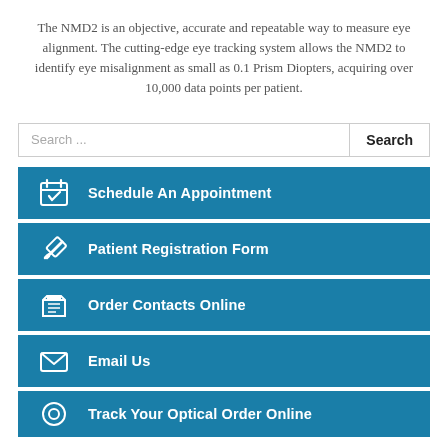The NMD2 is an objective, accurate and repeatable way to measure eye alignment. The cutting-edge eye tracking system allows the NMD2 to identify eye misalignment as small as 0.1 Prism Diopters, acquiring over 10,000 data points per patient.
Search ...
Schedule An Appointment
Patient Registration Form
Order Contacts Online
Email Us
Track Your Optical Order Online